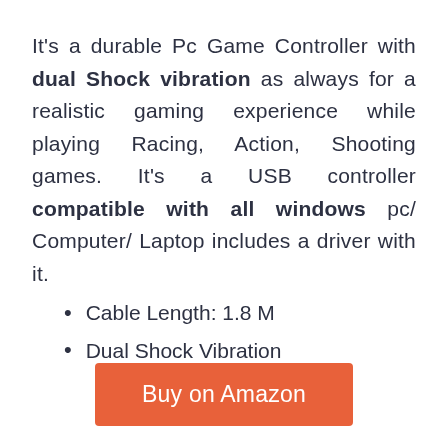It's a durable Pc Game Controller with dual Shock vibration as always for a realistic gaming experience while playing Racing, Action, Shooting games. It's a USB controller compatible with all windows pc/ Computer/ Laptop includes a driver with it.
Cable Length: 1.8 M
Dual Shock Vibration
Buy on Amazon